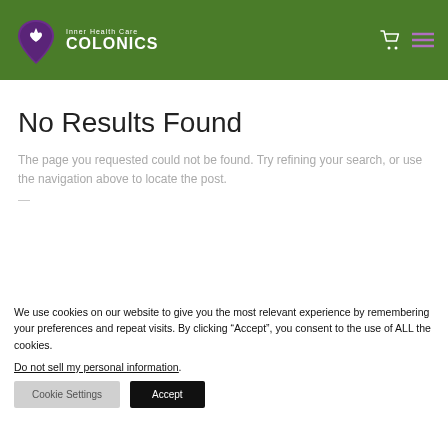Inner Health Care COLONICS
No Results Found
The page you requested could not be found. Try refining your search, or use the navigation above to locate the post.
We use cookies on our website to give you the most relevant experience by remembering your preferences and repeat visits. By clicking “Accept”, you consent to the use of ALL the cookies.
Do not sell my personal information.
Cookie Settings   Accept